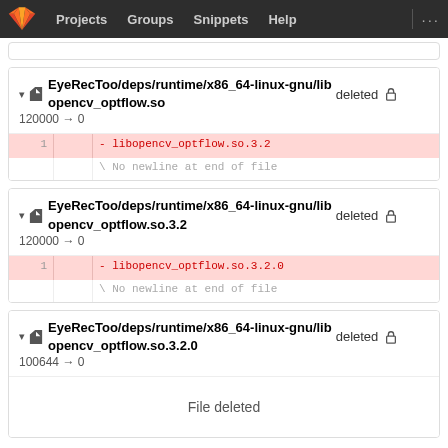Projects  Groups  Snippets  Help  ...
▼ EyeRecToo/deps/runtime/x86_64-linux-gnu/libopencv_optflow.so deleted  120000 → 0
| old | new | code |
| --- | --- | --- |
| 1 |  | - libopencv_optflow.so.3.2 |
|  |  | \ No newline at end of file |
▼ EyeRecToo/deps/runtime/x86_64-linux-gnu/libopencv_optflow.so.3.2 deleted  120000 → 0
| old | new | code |
| --- | --- | --- |
| 1 |  | - libopencv_optflow.so.3.2.0 |
|  |  | \ No newline at end of file |
▼ EyeRecToo/deps/runtime/x86_64-linux-gnu/libopencv_optflow.so.3.2.0 deleted  100644 → 0
File deleted